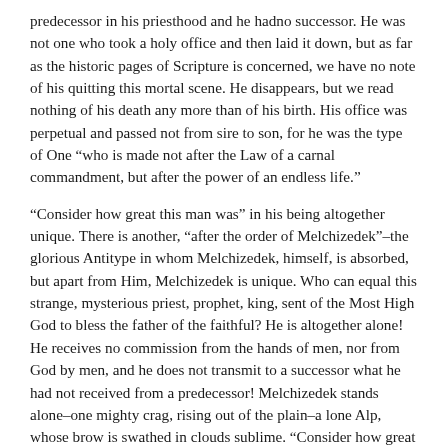predecessor in his priesthood and he hadno successor. He was not one who took a holy office and then laid it down, but as far as the historic pages of Scripture is concerned, we have no note of his quitting this mortal scene. He disappears, but we read nothing of his death any more than of his birth. His office was perpetual and passed not from sire to son, for he was the type of One “who is made not after the Law of a carnal commandment, but after the power of an endless life.”
“Consider how great this man was” in his being altogether unique. There is another, “after the order of Melchizedek”–the glorious Antitype in whom Melchizedek, himself, is absorbed, but apart from Him, Melchizedek is unique. Who can equal this strange, mysterious priest, prophet, king, sent of the Most High God to bless the father of the faithful? He is altogether alone! He receives no commission from the hands of men, nor from God by men, and he does not transmit to a successor what he had not received from a predecessor! Melchizedek stands alone–one mighty crag, rising out of the plain–a lone Alp, whose brow is swathed in clouds sublime. “Consider how great this man was,” but think not to measure that greatness!
I shall leave you to that consideration, for my business, this morning, is not with Melchizedek, but with a greater than he. I shall take my text in its connection, but lift it up to a higher application. Beloved Friends, if